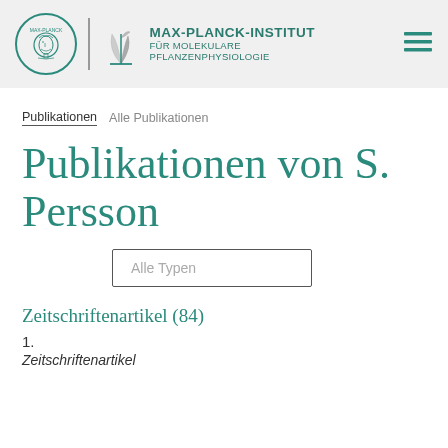MAX-PLANCK-INSTITUT FÜR MOLEKULARE PFLANZENPHYSIOLOGIE
Publikationen  Alle Publikationen
Publikationen von S. Persson
Alle Typen
Zeitschriftenartikel (84)
1.
Zeitschriftenartikel